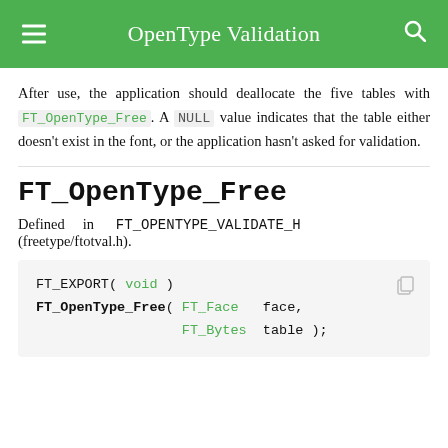OpenType Validation
After use, the application should deallocate the five tables with FT_OpenType_Free. A NULL value indicates that the table either doesn't exist in the font, or the application hasn't asked for validation.
FT_OpenType_Free
Defined in FT_OPENTYPE_VALIDATE_H (freetype/ftotval.h).
FT_EXPORT( void )
FT_OpenType_Free( FT_Face  face,
                  FT_Bytes  table );